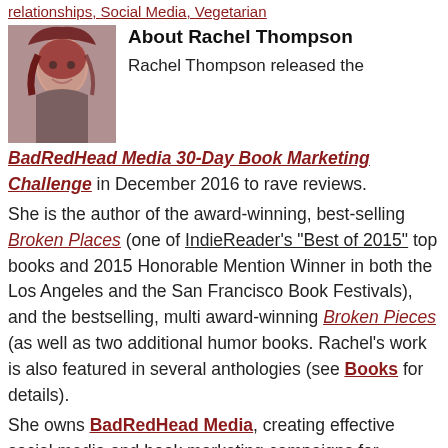relationships, Social Media, Vegetarian
About Rachel Thompson
[Figure (photo): Portrait photo of Rachel Thompson, a woman with red-tinted dark hair]
Rachel Thompson released the BadRedHead Media 30-Day Book Marketing Challenge in December 2016 to rave reviews.
She is the author of the award-winning, best-selling Broken Places (one of IndieReader's "Best of 2015" top books and 2015 Honorable Mention Winner in both the Los Angeles and the San Francisco Book Festivals), and the bestselling, multi award-winning Broken Pieces (as well as two additional humor books. Rachel's work is also featured in several anthologies (see Books for details).
She owns BadRedHead Media, creating effective social media and book marketing campaigns for authors. Her articles appear regularly in The